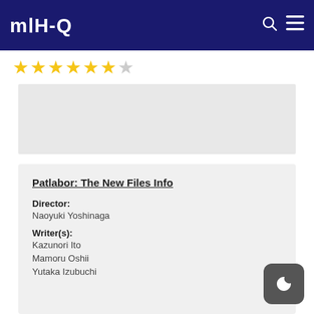MAHQ
[Figure (other): Star rating row with approximately 6 gold stars and 1 partially filled star]
[Figure (other): Gray advertisement or placeholder block]
Patlabor: The New Files Info
Director:
Naoyuki Yoshinaga
Writer(s):
Kazunori Ito
Mamoru Oshii
Yutaka Izubuchi